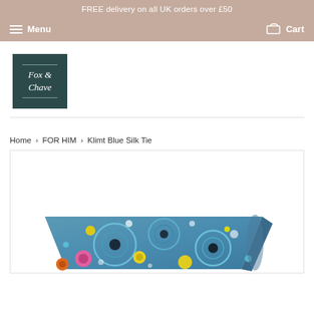FREE delivery on all UK orders over £50
Menu   Cart
[Figure (logo): Fox & Chave brand logo — dark teal square with serif white text 'Fox & Chave' and horizontal lines above and below]
Home › FOR HIM › Klimt Blue Silk Tie
[Figure (photo): Folded blue silk tie with Klimt-inspired circular pattern featuring concentric rings in blue, yellow, pink, black and white on a blue background]